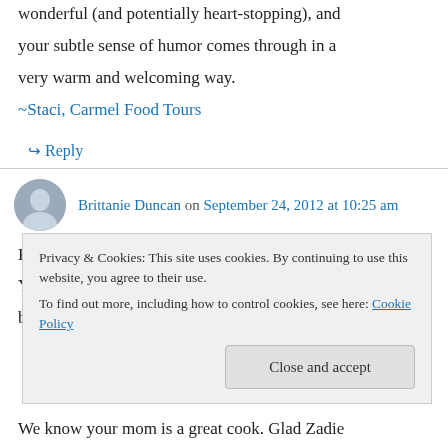wonderful (and potentially heart-stopping), and your subtle sense of humor comes through in a very warm and welcoming way. ~Staci, Carmel Food Tours
↳ Reply
Brittanie Duncan on September 24, 2012 at 10:25 am
Katie! I had no idea you were a food blogger. Your recipes look so yummy. I'm excited to browse around =)
Privacy & Cookies: This site uses cookies. By continuing to use this website, you agree to their use. To find out more, including how to control cookies, see here: Cookie Policy
Close and accept
We know your mom is a great cook. Glad Zadie